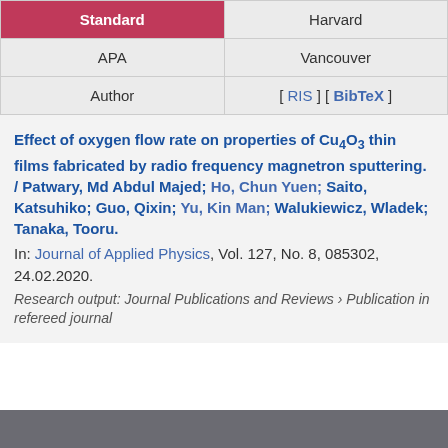| Standard | Harvard |
| --- | --- |
| APA | Vancouver |
| Author | [ RIS ] [ BibTeX ] |
Effect of oxygen flow rate on properties of Cu4O3 thin films fabricated by radio frequency magnetron sputtering. / Patwary, Md Abdul Majed; Ho, Chun Yuen; Saito, Katsuhiko; Guo, Qixin; Yu, Kin Man; Walukiewicz, Wladek; Tanaka, Tooru.
In: Journal of Applied Physics, Vol. 127, No. 8, 085302, 24.02.2020.
Research output: Journal Publications and Reviews › Publication in refereed journal